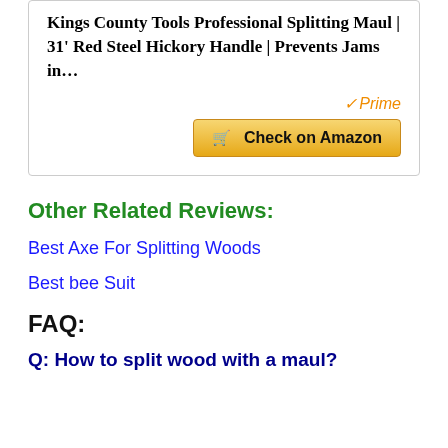Kings County Tools Professional Splitting Maul | 31' Red Steel Hickory Handle | Prevents Jams in…
✓Prime
🛒 Check on Amazon
Other Related Reviews:
Best Axe For Splitting Woods
Best bee Suit
FAQ:
Q: How to split wood with a maul?